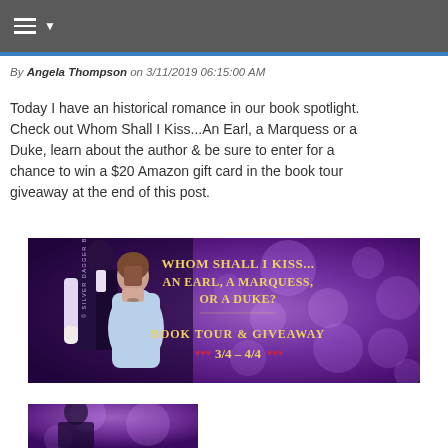☰ ▼
By Angela Thompson on 3/11/2019 06:15:00 AM
Today I have an historical romance in our book spotlight. Check out Whom Shall I Kiss...An Earl, a Marquess or a Duke, learn about the author & be sure to enter for a chance to win a $20 Amazon gift card in the book tour giveaway at the end of this post.
[Figure (photo): Book tour banner for 'Whom Shall I Kiss... An Earl, A Marquess, Or a Duke?' showing a couple about to kiss on the left and golden text on a purple floral background on the right. Text reads: Book Tour & Giveaway 3/4 - 4/4 by Silver Dagger Book Tours]
[Figure (photo): Partial image of the book cover showing a purple floral background with figures]